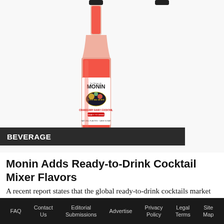[Figure (photo): Two Monin syrup bottles side by side on white background. Left bottle contains bright red/pink liquid (Cranberry Daisy cocktail mixer), right bottle contains dark red/cherry liquid (Cherry Daisy cocktail mixer). Both bottles show the Monin brand label.]
BEVERAGE
Monin Adds Ready-to-Drink Cocktail Mixer Flavors
A recent report states that the global ready-to-drink cocktails market size is expected to grow at a CAGR of 13.4% between the forecast period …
FAQ  Contact Us  Editorial Submissions  Advertise  Privacy Policy  Legal Terms  Site Map